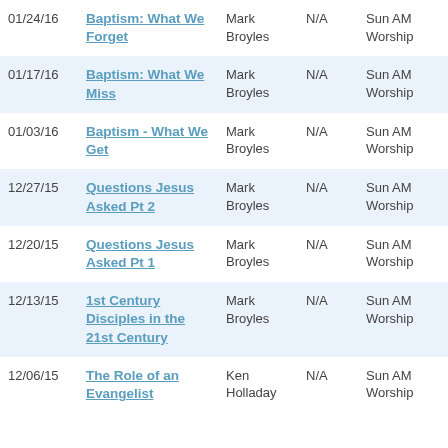| Date | Title | Speaker |  | Service |
| --- | --- | --- | --- | --- |
| 01/24/16 | Baptism: What We Forget | Mark Broyles | N/A | Sun AM Worship |
| 01/17/16 | Baptism: What We Miss | Mark Broyles | N/A | Sun AM Worship |
| 01/03/16 | Baptism - What We Get | Mark Broyles | N/A | Sun AM Worship |
| 12/27/15 | Questions Jesus Asked Pt 2 | Mark Broyles | N/A | Sun AM Worship |
| 12/20/15 | Questions Jesus Asked Pt 1 | Mark Broyles | N/A | Sun AM Worship |
| 12/13/15 | 1st Century Disciples in the 21st Century | Mark Broyles | N/A | Sun AM Worship |
| 12/06/15 | The Role of an Evangelist | Ken Holladay | N/A | Sun AM Worship |